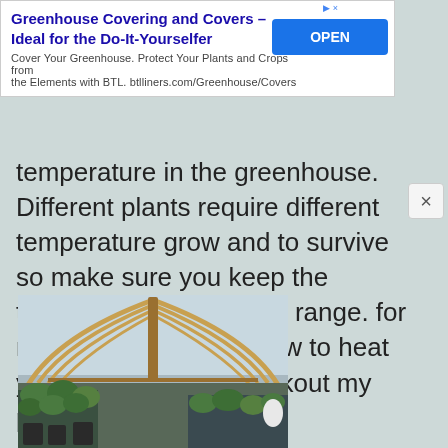[Figure (screenshot): Advertisement banner for Greenhouse Covering and Covers - Ideal for the Do-It-Yourselfer. Blue OPEN button on right. Text: Cover Your Greenhouse. Protect Your Plants and Crops from the Elements with BTL. btlliners.com/Greenhouse/Covers]
temperature in the greenhouse. Different plants require different temperature grow and to survive so make sure you keep the temperature with in that range.  for more information on how to heat your greenhouse, checkout my post about that here.
[Figure (photo): Interior of a greenhouse showing wooden arched rafters with clear plastic covering, plants and seedlings on shelves below, natural light coming through the roof.]